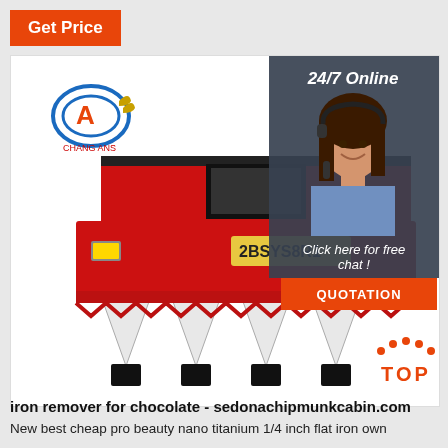Get Price
[Figure (photo): Red agricultural corn harvester machine with white row dividers, shown against white background. Company logo (letter A) in top left of photo. Inset: 24/7 Online chat agent (woman with headset smiling). Click here for free chat! QUOTATION button. TOP logo with dots in bottom right.]
iron remover for chocolate - sedonachipmunkcabin.com
New best cheap pro beauty nano titanium 1/4 inch flat iron own